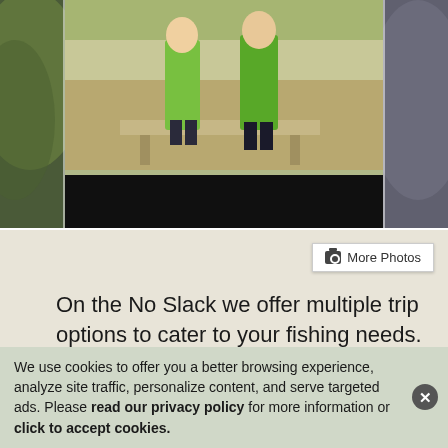[Figure (photo): Blurred outdoor scene showing people near a table, with green foliage background. Center panel shows people in green shirts with a dark bar at bottom.]
More Photos
On the No Slack we offer multiple trip options to cater to your fishing needs. We want to make sure your time on the water is an epic day all the way around. Our 34ft Freeman is one of the smoothest riding
We use cookies to offer you a better browsing experience, analyze site traffic, personalize content, and serve targeted ads. Please read our privacy policy for more information or click to accept cookies.